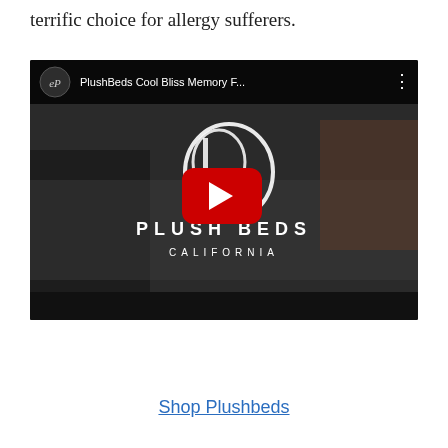terrific choice for allergy sufferers.
[Figure (screenshot): YouTube video thumbnail for PlushBeds Cool Bliss Memory F... showing a bedroom scene with PlushBeds California logo and a red YouTube play button in the center.]
Shop Plushbeds